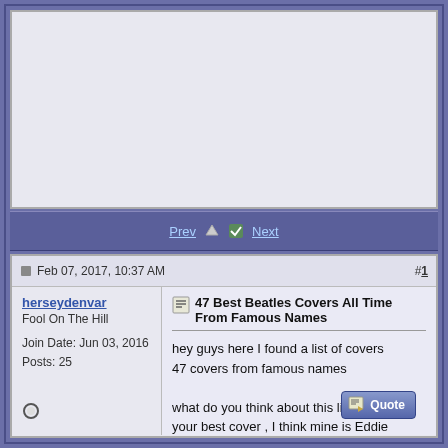[Figure (other): Advertisement placeholder box (empty white/light gray area)]
Prev [icon] [checkmark] Next
Feb 07, 2017, 10:37 AM  #1
herseydenvar
Fool On The Hill

Join Date: Jun 03, 2016
Posts: 25
47 Best Beatles Covers All Time From Famous Names
hey guys here I found a list of covers
47 covers from famous names

what do you think about this list, what is your best cover , I think mine is Eddie vedder
?

here is link

https://www.needsomefun.net/best-bea...vers-all-time/